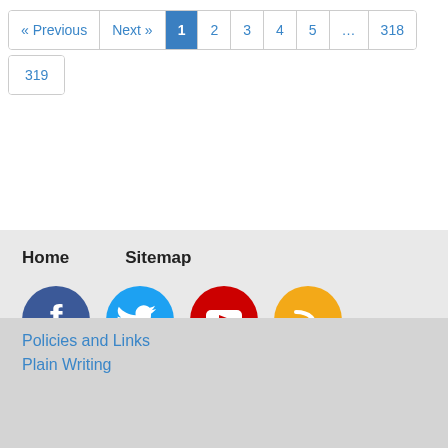« Previous | Next » | 1 | 2 | 3 | 4 | 5 | … | 318 | 319
Home   Sitemap
[Figure (infographic): Social media icons: Facebook (blue circle with white f), Twitter (light blue circle with white bird), YouTube (red circle with white play button), RSS (orange/yellow circle with white wifi-style signal icon)]
Policies and Links
Plain Writing